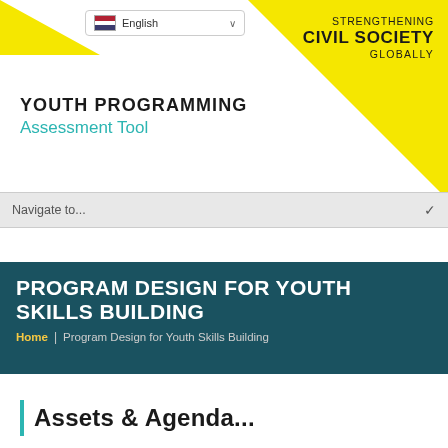[Figure (screenshot): Language selector dropdown with US flag and 'English' text]
[Figure (logo): Yellow triangle decorative background element top-right]
STRENGTHENING CIVIL SOCIETY GLOBALLY
YOUTH PROGRAMMING Assessment Tool
[Figure (screenshot): Navigation dropdown bar with 'Navigate to...' text and chevron]
PROGRAM DESIGN FOR YOUTH SKILLS BUILDING
Home | Program Design for Youth Skills Building
Assets & Agenda...